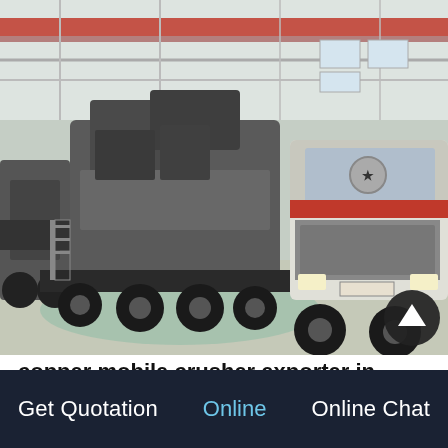[Figure (photo): Mobile crusher units mounted on heavy trucks inside a large industrial factory/warehouse. Multiple large mobile jaw crusher machines are visible on flatbed trucks. The setting is a factory floor with steel girder roof structure, some red-painted overhead cranes visible. The trucks are heavy-duty vehicles. A circular dark back-to-top button is visible in the lower right of the image.]
copper mobile crusher exporter in nigeria
Get Quotation   Online   Online Chat